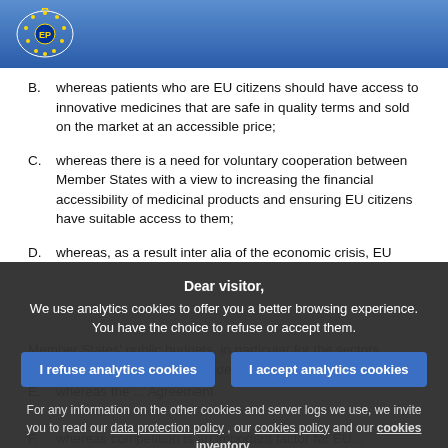European Parliament
B. whereas patients who are EU citizens should have access to innovative medicines that are safe in quality terms and sold on the market at an accessible price;
C. whereas there is a need for voluntary cooperation between Member States with a view to increasing the financial accessibility of medicinal products and ensuring EU citizens have suitable access to them;
D. whereas, as a result inter alia of the economic crisis, EU Member States' public budgets, in particular for the sectors covering health expenditure, under significant constraints;
E. whereas the ... Agreement
Dear visitor,
We use analytics cookies to offer you a better browsing experience. You have the choice to refuse or accept them.
I refuse analytics cookies | I accept analytics cookies
For any information on the other cookies and server logs we use, we invite you to read our data protection policy , our cookies policy and our cookies inventory.
F. whereas competition is an important factor...